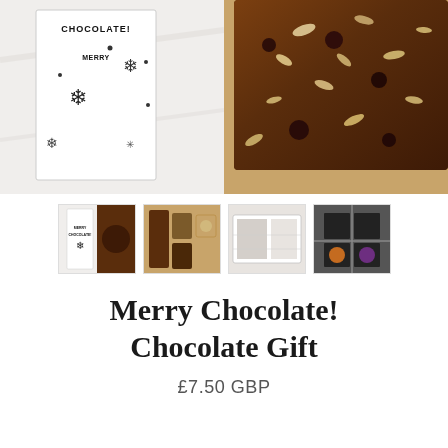[Figure (photo): Main product images: left side shows a white chocolate bar box with snowflake pattern and 'CHOCOLATE!' text on marble background; right side shows dark chocolate slab with nuts and dried fruit toppings on kraft paper.]
[Figure (photo): Thumbnail row with 4 product images: 1) merry chocolate box with dark chocolate bar, 2) assorted chocolate bars on kraft paper, 3) product label/ingredient sheet, 4) black gift box with ribbon.]
Merry Chocolate! Chocolate Gift
£7.50 GBP